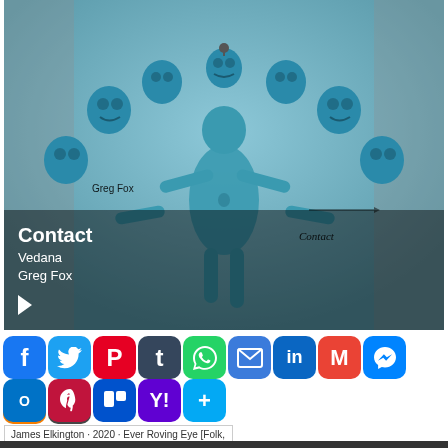[Figure (photo): Album artwork for 'Contact' by Greg Fox / Vedana — a blue 3D-rendered humanoid figure with many skull heads arranged around it like a crown, on a grey background. The text 'Greg Fox' appears in black on the image, and 'Contact' appears in italic text on the right side. A music player overlay shows: Contact / Vedana / Greg Fox / play button.]
[Figure (infographic): Row of social media sharing icon buttons: Facebook (blue f), Twitter (blue bird), Pinterest (red P), Tumblr (dark b), WhatsApp (green phone), Email (blue envelope), LinkedIn (blue in), Gmail (red M), Messenger (blue chat), Blogger (orange B), WordPress (grey W), Outlook (blue), Pinterest pin (red), Trello (blue), Yahoo (purple), and a blue + More button.]
James Elkington · 2020 · Ever Roving Eye [Folk, ...